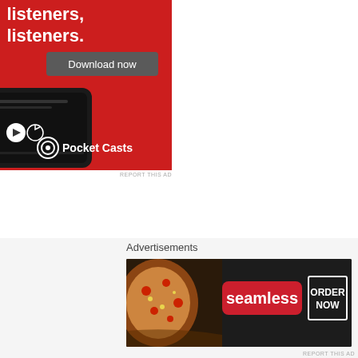[Figure (screenshot): Pocket Casts app advertisement on red background with phone mockup showing audio player, 'Download now' button, and Pocket Casts logo and branding. Text reads 'listeners.' at top.]
REPORT THIS AD
Advertisements
[Figure (screenshot): Seamless food delivery advertisement showing pizza slices on dark background with 'seamless' logo in red and 'ORDER NOW' button with white border.]